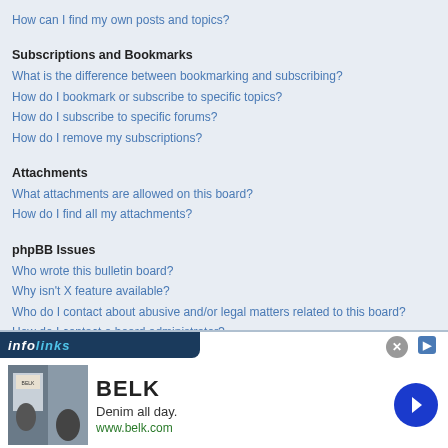How can I find my own posts and topics?
Subscriptions and Bookmarks
What is the difference between bookmarking and subscribing?
How do I bookmark or subscribe to specific topics?
How do I subscribe to specific forums?
How do I remove my subscriptions?
Attachments
What attachments are allowed on this board?
How do I find all my attachments?
phpBB Issues
Who wrote this bulletin board?
Why isn't X feature available?
Who do I contact about abusive and/or legal matters related to this board?
How do I contact a board administrator?
[Figure (screenshot): Infolinks advertisement banner with BELK ad showing 'Denim all day. www.belk.com']